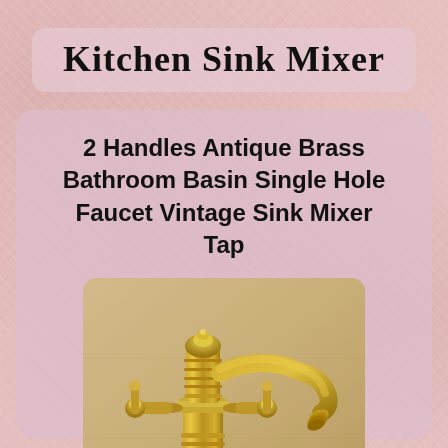Kitchen Sink Mixer
2 Handles Antique Brass Bathroom Basin Single Hole Faucet Vintage Sink Mixer Tap
[Figure (photo): Antique brass vintage kitchen/bathroom sink mixer tap faucet with two handles, photographed against a beige/cream background. The faucet has an ornate classic design with a curved spout.]